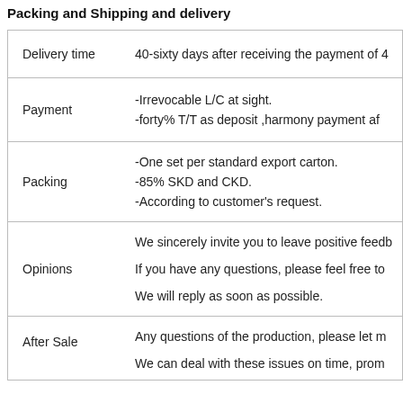Packing and Shipping and delivery
|  |  |
| --- | --- |
| Delivery time | 40-sixty days after receiving the payment of 4 |
| Payment | -Irrevocable L/C at sight.
-forty% T/T as deposit ,harmony payment af |
| Packing | -One set per standard export carton.
-85% SKD and CKD.
-According to customer's request. |
| Opinions | We sincerely invite you to leave positive feedb
If you have any questions, please feel free to
We will reply as soon as possible. |
| After Sale | Any questions of the production, please let m
We can deal with these issues on time, prom |